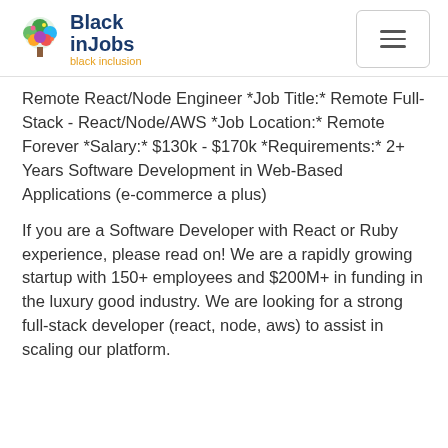Black inJobs — black inclusion
Remote React/Node Engineer *Job Title:* Remote Full-Stack - React/Node/AWS *Job Location:* Remote Forever *Salary:* $130k - $170k *Requirements:* 2+ Years Software Development in Web-Based Applications (e-commerce a plus)
If you are a Software Developer with React or Ruby experience, please read on! We are a rapidly growing startup with 150+ employees and $200M+ in funding in the luxury good industry. We are looking for a strong full-stack developer (react, node, aws) to assist in scaling our platform.